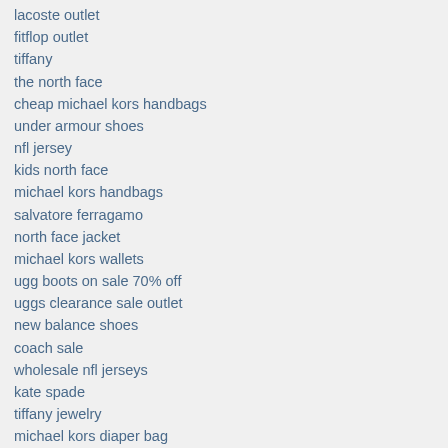lacoste outlet
fitflop outlet
tiffany
the north face
cheap michael kors handbags
under armour shoes
nfl jersey
kids north face
michael kors handbags
salvatore ferragamo
north face jacket
michael kors wallets
ugg boots on sale 70% off
uggs clearance sale outlet
new balance shoes
coach sale
wholesale nfl jerseys
kate spade
tiffany jewelry
michael kors diaper bag
north face jackets for women
nike air jordan shoes
michaelkors
moncler outlet